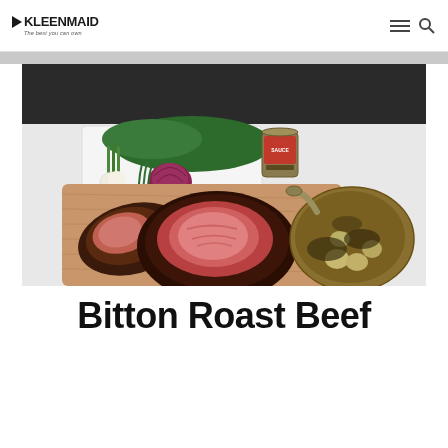Kleenmaid — The best you can own
[Figure (photo): A roast beef on a wooden cutting board, partially sliced to reveal pink interior, served with a side dish of vegetables and potatoes in a copper pan. In the background, a white plate with fresh herbs, asparagus, a red onion, garlic, and a jar of sauce.]
Bitton Roast Beef